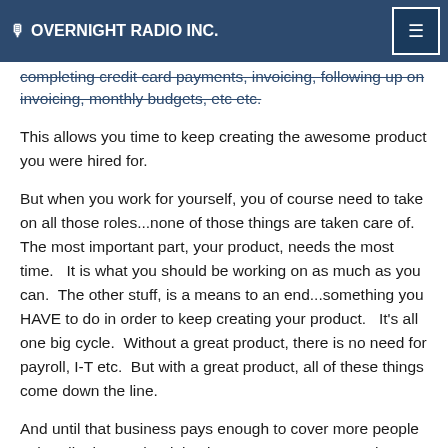OVERNIGHT RADIO INC.
completing credit card payments, invoicing, following up on invoicing, monthly budgets, etc etc.
This allows you time to keep creating the awesome product you were hired for.
But when you work for yourself, you of course need to take on all those roles...none of those things are taken care of.   The most important part, your product, needs the most time.   It is what you should be working on as much as you can.  The other stuff, is a means to an end...something you HAVE to do in order to keep creating your product.   It’s all one big cycle.  Without a great product, there is no need for payroll, I-T etc.  But with a great product, all of these things come down the line.
And until that business pays enough to cover more people to handle those other jobs, it’s up to you.  YOU are the boss, YOU